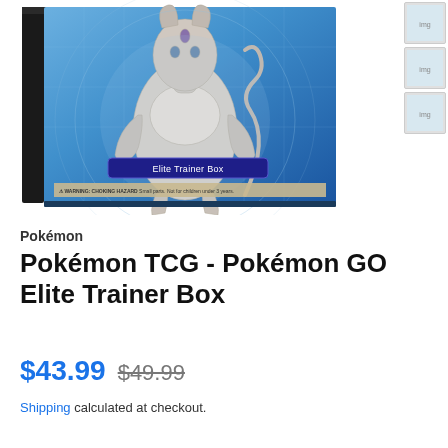[Figure (photo): Pokemon TCG Pokemon GO Elite Trainer Box product photo showing a blue box with Mewtwo illustration and 'Elite Trainer Box' label]
Pokémon
Pokémon TCG - Pokémon GO Elite Trainer Box
$43.99  $49.99
Shipping calculated at checkout.